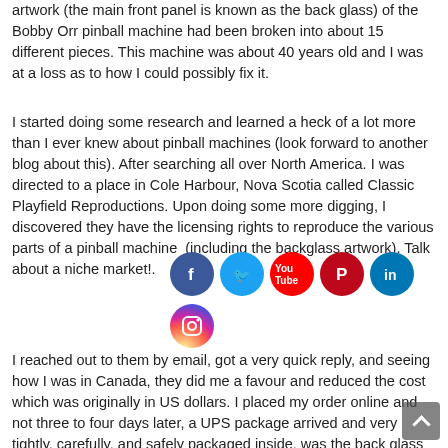artwork (the main front panel is known as the back glass) of the Bobby Orr pinball machine had been broken into about 15 different pieces. This machine was about 40 years old and I was at a loss as to how I could possibly fix it.
I started doing some research and learned a heck of a lot more than I ever knew about pinball machines (look forward to another blog about this). After searching all over North America. I was directed to a place in Cole Harbour, Nova Scotia called Classic Playfield Reproductions. Upon doing some more digging, I discovered they have the licensing rights to reproduce the various parts of a pinball machine (including the backglass artwork). Talk about a niche market!.
[Figure (infographic): Social media icons: Facebook, Twitter, YouTube, Pinterest, LinkedIn, Instagram]
I reached out to them by email, got a very quick reply, and seeing how I was in Canada, they did me a favour and reduced the cost which was originally in US dollars. I placed my order online and not three to four days later, a UPS package arrived and very tightly, carefully, and safely packaged inside, was the back glass for my pinball machine.